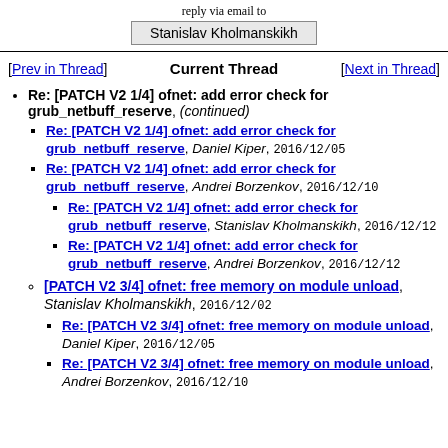reply via email to
Stanislav Kholmanskikh
[Prev in Thread]   Current Thread   [Next in Thread]
Re: [PATCH V2 1/4] ofnet: add error check for grub_netbuff_reserve, (continued)
Re: [PATCH V2 1/4] ofnet: add error check for grub_netbuff_reserve, Daniel Kiper, 2016/12/05
Re: [PATCH V2 1/4] ofnet: add error check for grub_netbuff_reserve, Andrei Borzenkov, 2016/12/10
Re: [PATCH V2 1/4] ofnet: add error check for grub_netbuff_reserve, Stanislav Kholmanskikh, 2016/12/12
Re: [PATCH V2 1/4] ofnet: add error check for grub_netbuff_reserve, Andrei Borzenkov, 2016/12/12
[PATCH V2 3/4] ofnet: free memory on module unload, Stanislav Kholmanskikh, 2016/12/02
Re: [PATCH V2 3/4] ofnet: free memory on module unload, Daniel Kiper, 2016/12/05
Re: [PATCH V2 3/4] ofnet: free memory on module unload, Andrei Borzenkov, 2016/12/10